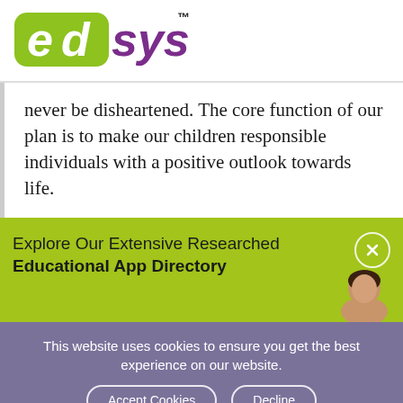[Figure (logo): edsys logo with green 'ed' in circular badge and purple 'sys' text, with TM superscript]
never be disheartened. The core function of our plan is to make our children responsible individuals with a positive outlook towards life.
Explore Our Extensive Researched Educational App Directory
This website uses cookies to ensure you get the best experience on our website.
Accept Cookies
Decline